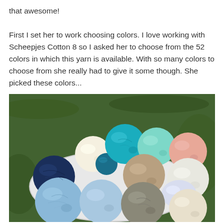that awesome!

First I set her to work choosing colors. I love working with Scheepjes Cotton 8 so I asked her to choose from the 52 colors in which this yarn is available. With so many colors to choose from she really had to give it some though. She picked these colors...
[Figure (photo): A bowl or plate on grass filled with multiple balls of yarn in various colors including navy blue, teal, turquoise, mint green, light blue, peach/salmon, beige/tan, grey, cream/white, and lavender.]